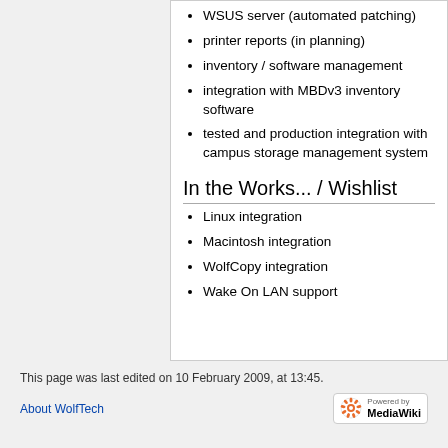WSUS server (automated patching)
printer reports (in planning)
inventory / software management
integration with MBDv3 inventory software
tested and production integration with campus storage management system
In the Works... / Wishlist
Linux integration
Macintosh integration
WolfCopy integration
Wake On LAN support
This page was last edited on 10 February 2009, at 13:45.
About WolfTech